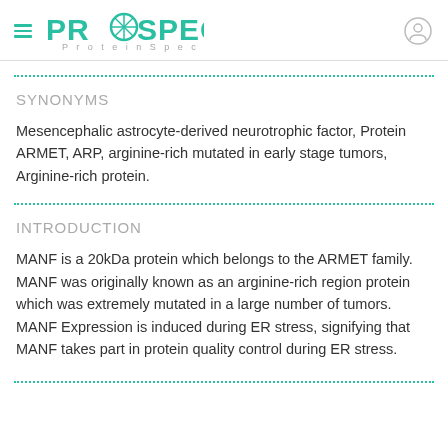PROSPEC Protein Specialists
SYNONYMS
Mesencephalic astrocyte-derived neurotrophic factor, Protein ARMET, ARP, arginine-rich mutated in early stage tumors, Arginine-rich protein.
INTRODUCTION
MANF is a 20kDa protein which belongs to the ARMET family. MANF was originally known as an arginine-rich region protein which was extremely mutated in a large number of tumors. MANF Expression is induced during ER stress, signifying that MANF takes part in protein quality control during ER stress.